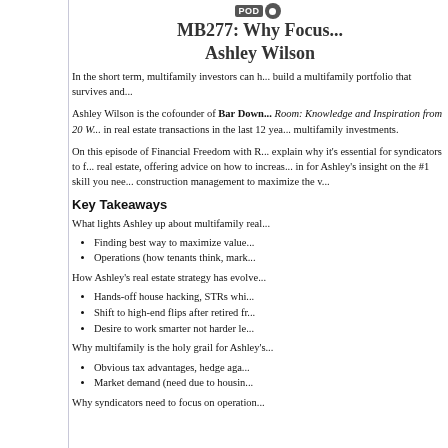MB277: Why Focus... Ashley Wilson
In the short term, multifamily investors can h... build a multifamily portfolio that survives and...
Ashley Wilson is the cofounder of Bar Down... Room: Knowledge and Inspiration from 20 W... in real estate transactions in the last 12 yea... multifamily investments.
On this episode of Financial Freedom with R... explain why it's essential for syndicators to f... real estate, offering advice on how to increas... in for Ashley's insight on the #1 skill you nee... construction management to maximize the v...
Key Takeaways
What lights Ashley up about multifamily real...
Finding best way to maximize value...
Operations (how tenants think, mark...
How Ashley's real estate strategy has evolve...
Hands-off house hacking, STRs whi...
Shift to high-end flips after retired fr...
Desire to work smarter not harder le...
Why multifamily is the holy grail for Ashley's...
Obvious tax advantages, hedge aga...
Market demand (need due to housin...
Why syndicators need to focus on operation...